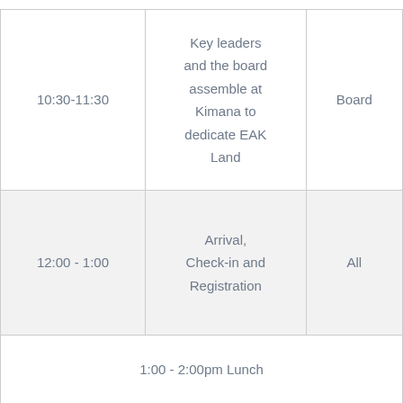| Time | Activity | Who |
| --- | --- | --- |
| 10:30-11:30 | Key leaders and the board assemble at Kimana to dedicate EAK Land | Board |
| 12:00 - 1:00 | Arrival, Check-in and Registration | All |
|  | 1:00 - 2:00pm Lunch |  |
| 2:00 – 3:00 | Rest/ Free Time | All |